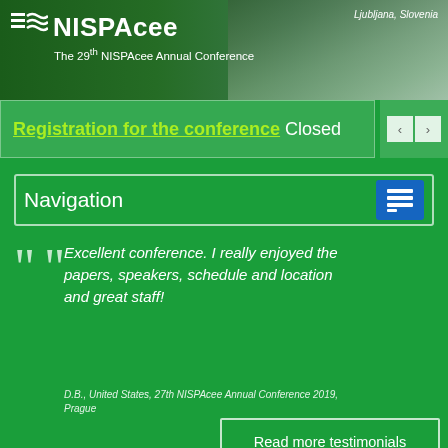NISPAcee – The 29th NISPAcee Annual Conference – Ljubljana, Slovenia
Registration for the conference Closed
Navigation
Excellent conference. I really enjoyed the papers, speakers, schedule and location and great staff!
D.B., United States, 27th NISPAcee Annual Conference 2019, Prague
Read more testimonials
:: Anonymous user Login / Register